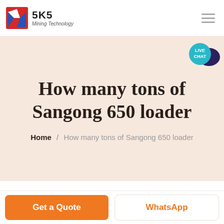[Figure (logo): SKS Mining Technology logo with stylized red and blue S icon and text 'SKS Mining Technology']
How many tons of Sangong 650 loader
Home / How many tons of Sangong 650 loader
Get a Quote
WhatsApp